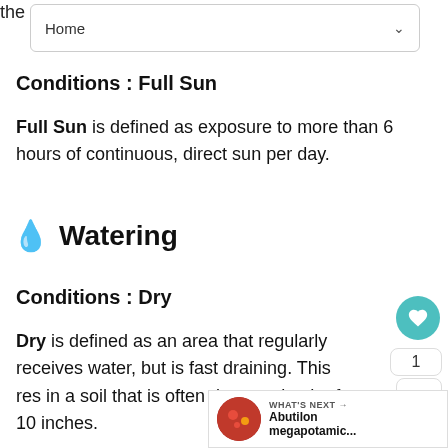the
Home
Conditions : Full Sun
Full Sun is defined as exposure to more than 6 hours of continuous, direct sun per day.
Watering
Conditions : Dry
Dry is defined as an area that regularly receives water, but is fast draining. This results in a soil that is often dry to a depth of 10 inches.